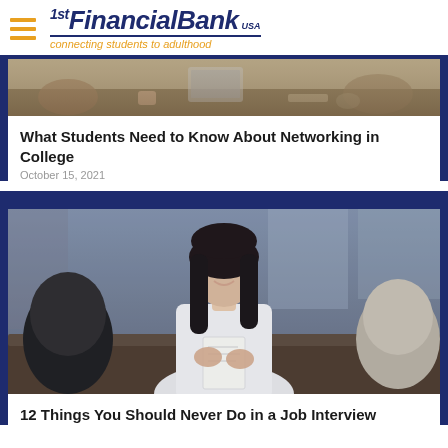1st Financial Bank USA — connecting students to adulthood
[Figure (photo): Photo of people at a meeting table with laptops and coffee, networking scene]
What Students Need to Know About Networking in College
October 15, 2021
[Figure (photo): Photo of a smiling young woman holding papers in a job interview setting]
12 Things You Should Never Do in a Job Interview